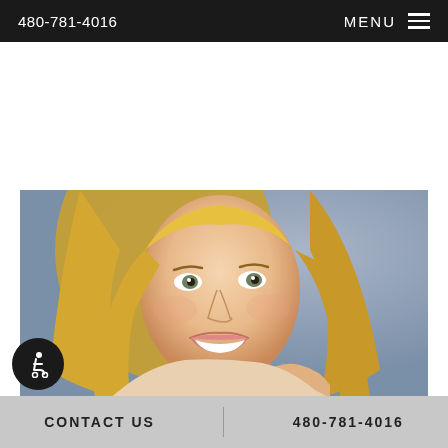480-781-4016   MENU
[Figure (photo): Close-up portrait of a smiling blonde woman with green eyes, photographed against a grey background. She is touching her hair with one hand.]
CONTACT US   480-781-4016